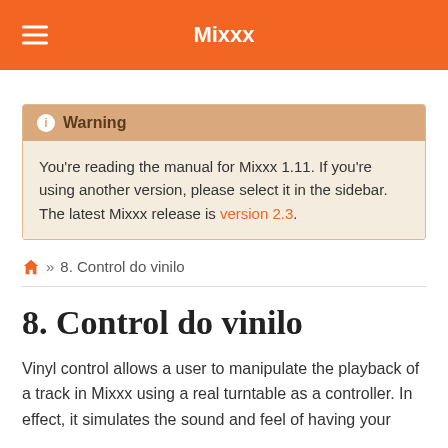Mixxx
Warning: You're reading the manual for Mixxx 1.11. If you're using another version, please select it in the sidebar. The latest Mixxx release is version 2.3.
» 8. Control do vinilo
8. Control do vinilo
Vinyl control allows a user to manipulate the playback of a track in Mixxx using a real turntable as a controller. In effect, it simulates the sound and feel of having your